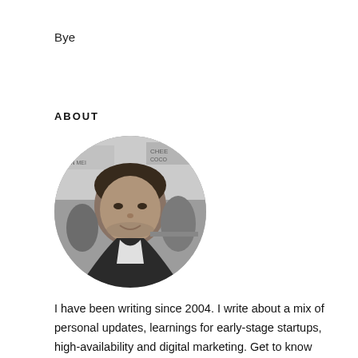Bye
ABOUT
[Figure (photo): Black and white circular portrait photo of a young man smiling, with a busy street scene in the background]
I have been writing since 2004. I write about a mix of personal updates, learnings for early-stage startups, high-availability and digital marketing. Get to know more about me here